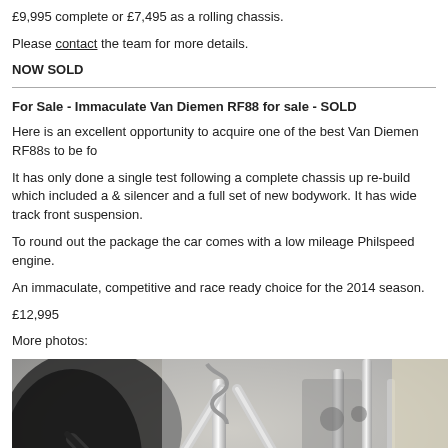£9,995 complete or £7,495 as a rolling chassis.
Please contact the team for more details.
NOW SOLD
For Sale - Immaculate Van Diemen RF88 for sale - SOLD
Here is an excellent opportunity to acquire one of the best Van Diemen RF88s to be fo
It has only done a single test following a complete chassis up re-build which included a & silencer and a full set of new bodywork. It has wide track front suspension.
To round out the package the car comes with a low mileage Philspeed engine.
An immaculate, competitive and race ready choice for the 2014 season.
£12,995
More photos:
[Figure (photo): Close-up photo of a racing car chassis showing chrome/silver suspension components, tubes and mechanical parts against a light background]